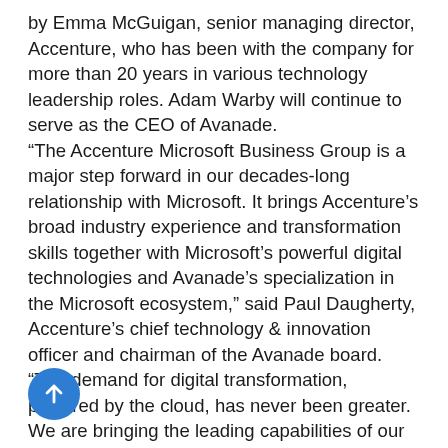by Emma McGuigan, senior managing director, Accenture, who has been with the company for more than 20 years in various technology leadership roles. Adam Warby will continue to serve as the CEO of Avanade. “The Accenture Microsoft Business Group is a major step forward in our decades-long relationship with Microsoft. It brings Accenture’s broad industry experience and transformation skills together with Microsoft’s powerful digital technologies and Avanade’s specialization in the Microsoft ecosystem,” said Paul Daugherty, Accenture’s chief technology & innovation officer and chairman of the Avanade board. “The demand for digital transformation, powered by the cloud, has never been greater. We are bringing the leading capabilities of our companies together to meet this demand and deliver innovation to our clients.” Judson Althoff, executive vice president, Worldwide Commercial Business at Microsoft said, “Every company is becoming a digital company. Building on our successful